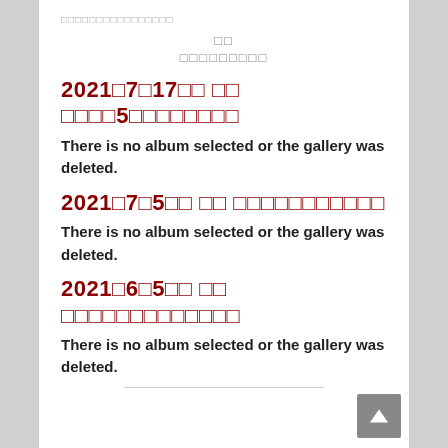□□□□□□□□□□□□□□□□
□□
□□□□□□□□□
2021□7□17□□ □□ □□□□5□□□□□□□□
There is no album selected or the gallery was deleted.
2021□7□5□□ □□ □□□□□□□□□□□
There is no album selected or the gallery was deleted.
2021□6□5□□ □□ □□□□□□□□□□□□□
There is no album selected or the gallery was deleted.